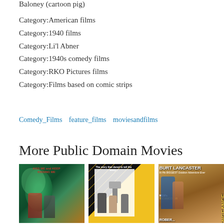Baloney (cartoon pig)
Category:American films
Category:1940 films
Category:Li'l Abner
Category:1940s comedy films
Category:RKO Pictures films
Category:Films based on comic strips
Comedy_Films   feature_films   moviesandfilms
More Public Domain Movies
[Figure (photo): Movie poster for a film featuring 'Kiss Me and Keep Kissing Me', with green/teal horror-style artwork showing faces and a woman]
[Figure (photo): Black and white diagonal striped movie poster, likely for Detour or similar 1940s film, showing figures with a robot/lamp]
[Figure (photo): Burt Lancaster in Vengeance Valley movie poster, MGM Technicolor, showing Lancaster with a woman]